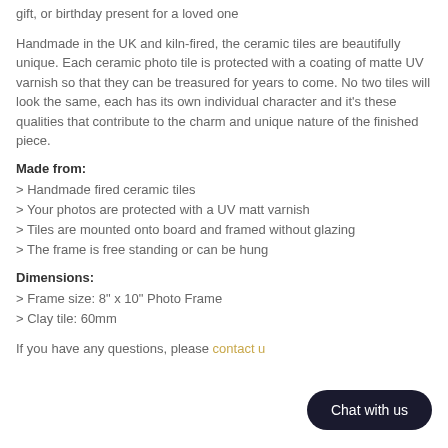gift, or birthday present for a loved one
Handmade in the UK and kiln-fired, the ceramic tiles are beautifully unique. Each ceramic photo tile is protected with a coating of matte UV varnish so that they can be treasured for years to come. No two tiles will look the same, each has its own individual character and it's these qualities that contribute to the charm and unique nature of the finished piece.
Made from:
> Handmade fired ceramic tiles
> Your photos are protected with a UV matt varnish
> Tiles are mounted onto board and framed without glazing
> The frame is free standing or can be hung
Dimensions:
> Frame size: 8" x 10" Photo Frame
> Clay tile: 60mm
If you have any questions, please contact us